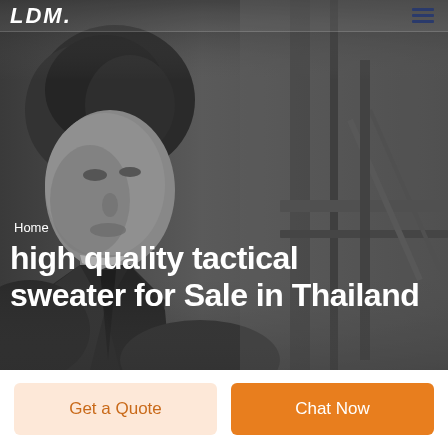LDM [logo] [hamburger menu]
[Figure (photo): Dark grayscale background photo of a man in a suit, partially visible face and shoulder, with metal structural elements in the background]
Home
high quality tactical sweater for Sale in Thailand
Get a Quote
Chat Now